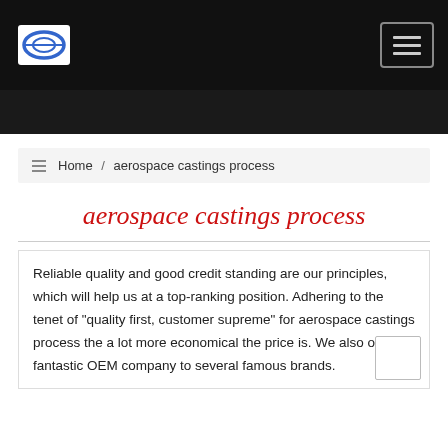aerospace castings process — website header with logo and navigation
Home / aerospace castings process
aerospace castings process
Reliable quality and good credit standing are our principles, which will help us at a top-ranking position. Adhering to the tenet of "quality first, customer supreme" for aerospace castings process the a lot more economical the price is. We also offer fantastic OEM company to several famous brands.